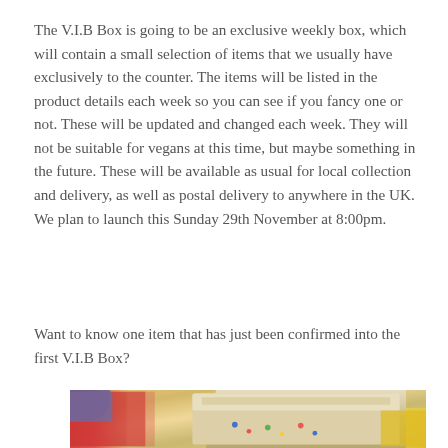The V.I.B Box is going to be an exclusive weekly box, which will contain a small selection of items that we usually have exclusively to the counter. The items will be listed in the product details each week so you can see if you fancy one or not. These will be updated and changed each week. They will not be suitable for vegans at this time, but maybe something in the future. These will be available as usual for local collection and delivery, as well as postal delivery to anywhere in the UK. We plan to launch this Sunday 29th November at 8:00pm.
Want to know one item that has just been confirmed into the first V.I.B Box?
[Figure (photo): Close-up photo of baked goods (cake/biscuit slice) with colourful blurred items in background including red and blue and yellow elements]